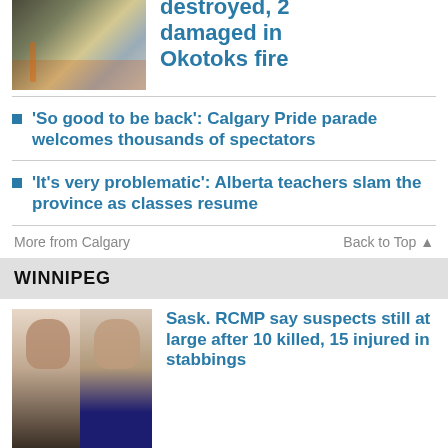[Figure (photo): Fire truck/emergency scene photo, partially visible at top]
destroyed, 2 damaged in Okotoks fire
'So good to be back': Calgary Pride parade welcomes thousands of spectators
'It's very problematic': Alberta teachers slam the province as classes resume
More from Calgary
Back to Top ▲
WINNIPEG
[Figure (photo): Two male suspects side by side, police/RCMP mugshot style photo]
Sask. RCMP say suspects still at large after 10 killed, 15 injured in stabbings
Late field goal lifts Blue Bombers to win over Roughriders at Labour Day Classic